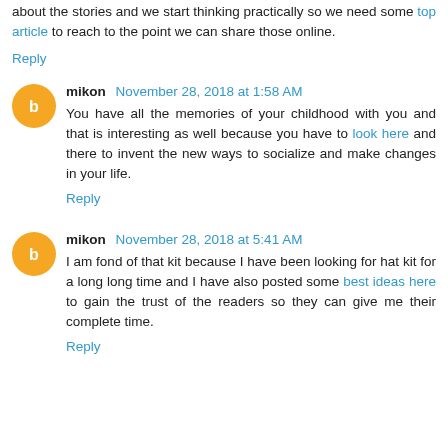about the stories and we start thinking practically so we need some top article to reach to the point we can share those online.
Reply
mikon  November 28, 2018 at 1:58 AM
You have all the memories of your childhood with you and that is interesting as well because you have to look here and there to invent the new ways to socialize and make changes in your life.
Reply
mikon  November 28, 2018 at 5:41 AM
I am fond of that kit because I have been looking for hat kit for a long long time and I have also posted some best ideas here to gain the trust of the readers so they can give me their complete time.
Reply